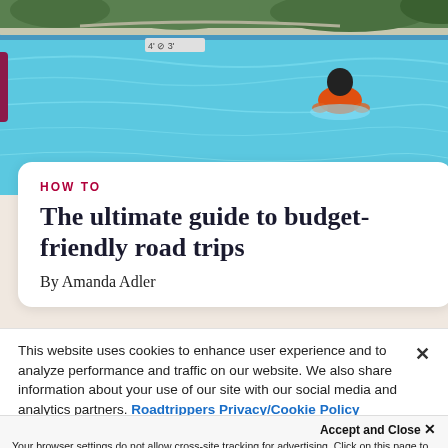[Figure (photo): Child in orange shirt swimming in a blue outdoor pool, viewed from behind. Pool tile edges and landscaping visible.]
HOW TO
The ultimate guide to budget-friendly road trips
By Amanda Adler
This website uses cookies to enhance user experience and to analyze performance and traffic on our website. We also share information about your use of our site with our social media and analytics partners. Roadtrippers Privacy/Cookie Policy
Accept and Close ✕
Your browser settings do not allow cross-site tracking for advertising. Click on this page to allow AdRoll to use cross-site tracking to tailor ads to you. Learn more or opt out of this AdRoll tracking by clicking here. This message only appears once.